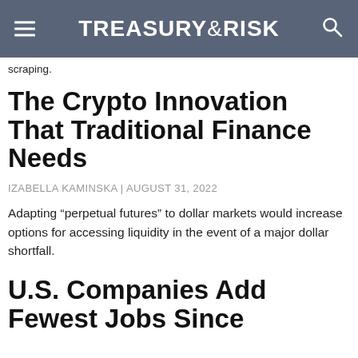TREASURY & RISK
scraping.
The Crypto Innovation That Traditional Finance Needs
IZABELLA KAMINSKA | AUGUST 31, 2022
Adapting “perpetual futures” to dollar markets would increase options for accessing liquidity in the event of a major dollar shortfall.
U.S. Companies Add Fewest Jobs Since